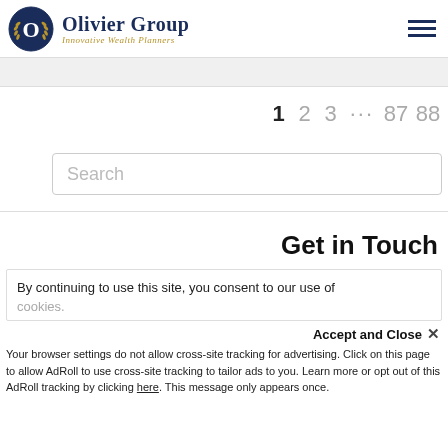Olivier Group — Innovative Wealth Planners
1 2 3 … 87 88
Search
Get in Touch
By continuing to use this site, you consent to our use of cookies.
Accept and Close ×
Your browser settings do not allow cross-site tracking for advertising. Click on this page to allow AdRoll to use cross-site tracking to tailor ads to you. Learn more or opt out of this AdRoll tracking by clicking here. This message only appears once.